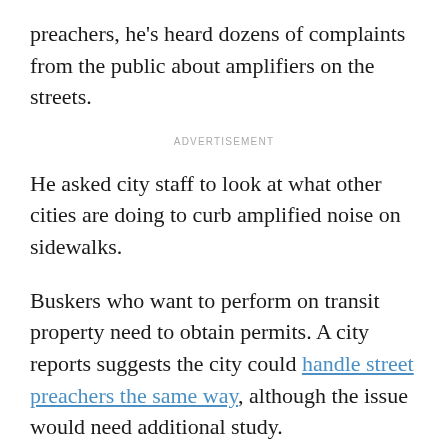preachers, he's heard dozens of complaints from the public about amplifiers on the streets.
ADVERTISEMENT
He asked city staff to look at what other cities are doing to curb amplified noise on sidewalks.
Buskers who want to perform on transit property need to obtain permits. A city reports suggests the city could handle street preachers the same way, although the issue would need additional study.
The city could also keep preachers from setting up right outside entrances to buildings
"I wanna just make sure that if someone is walking